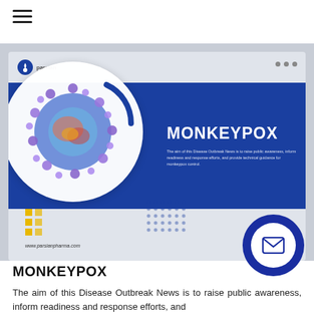[Figure (screenshot): Monkeypox disease outbreak news banner image showing a stylized virus illustration in a white circle on a blue background, with the text MONKEYPOX and a subtitle about disease outbreak awareness. Includes logo, three dots, yellow squares, dot grid, and website URL www.parsianpharma.com]
MONKEYPOX
The aim of this Disease Outbreak News is to raise public awareness, inform readiness and response efforts, and